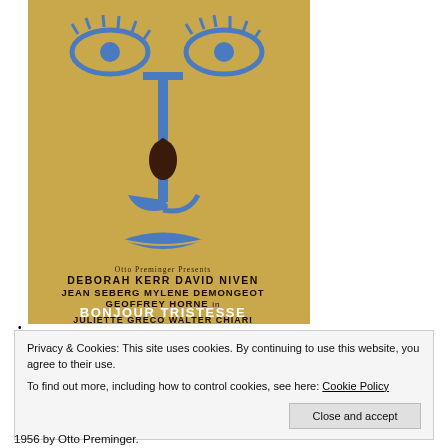[Figure (illustration): Movie poster for 'Bonjour Tristesse' (1956) by Otto Preminger. Tan/golden background with blue stylized face illustration (eyes, nose, lips) and a dark teardrop. Text reads: Otto Preminger Presents / DEBORAH KERR  DAVID NIVEN / JEAN SEBERG  MYLENE DEMONGEOT / GEOFFREY HORNE in / BONJOUR TRISTESSE / JULIETTE GRECO  WALTER CHIARI]
•
Privacy & Cookies: This site uses cookies. By continuing to use this website, you agree to their use.
To find out more, including how to control cookies, see here: Cookie Policy
Close and accept
1956 by Otto Preminger.